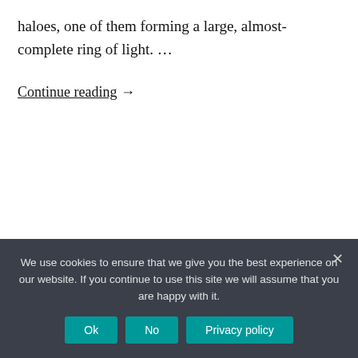haloes, one of them forming a large, almost-complete ring of light. …
Continue reading →
Post author: Press_Ewass   Date: 22nd June 2019   Category: EWASS 2019
We use cookies to ensure that we give you the best experience on our website. If you continue to use this site we will assume that you are happy with it.
Ok   No   Privacy policy